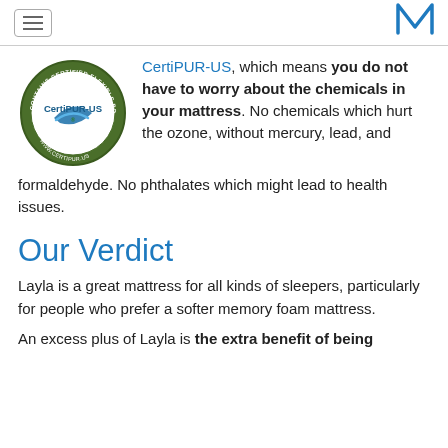[hamburger menu icon] [M logo]
[Figure (logo): CertiPUR-US circular green badge/seal logo with text 'CONTAINS CERTIFIED FLEXIBLE POLYURETHANE FOAM' around the border and 'CertiPUR-US' in the center with a blue swoosh]
CertiPUR-US, which means you do not have to worry about the chemicals in your mattress. No chemicals which hurt the ozone, without mercury, lead, and formaldehyde. No phthalates which might lead to health issues.
Our Verdict
Layla is a great mattress for all kinds of sleepers, particularly for people who prefer a softer memory foam mattress.
An excess plus of Layla is the extra benefit of being